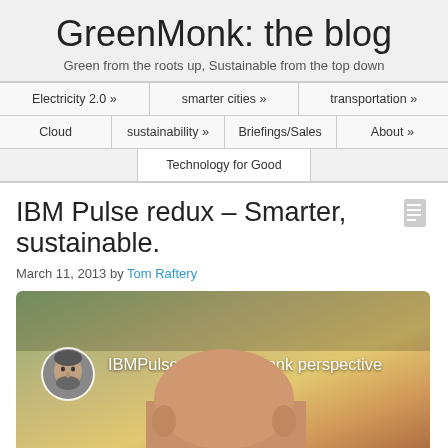GreenMonk: the blog
Green from the roots up, Sustainable from the top down
Electricity 2.0 »
smarter cities »
transportation »
Cloud
sustainability »
Briefings/Sales
About »
Technology for Good
IBM Pulse redux – Smarter, sustainable.
March 11, 2013 by Tom Raftery
[Figure (screenshot): Video thumbnail showing IBMPulse - a GreenMonk perspective with a circular avatar of a bearded man and video title text over a blurred outdoor background.]